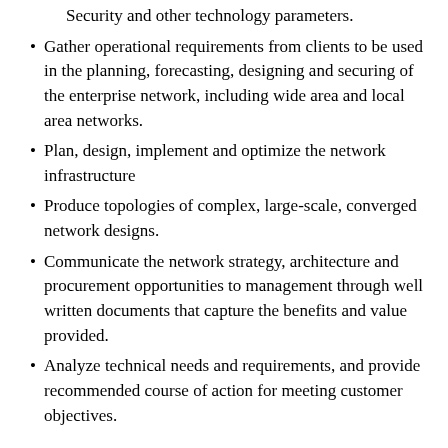Security and other technology parameters.
Gather operational requirements from clients to be used in the planning, forecasting, designing and securing of the enterprise network, including wide area and local area networks.
Plan, design, implement and optimize the network infrastructure
Produce topologies of complex, large-scale, converged network designs.
Communicate the network strategy, architecture and procurement opportunities to management through well written documents that capture the benefits and value provided.
Analyze technical needs and requirements, and provide recommended course of action for meeting customer objectives.
Develop multiple Course of Actions to functional problems and reduce abstract ideas to easily